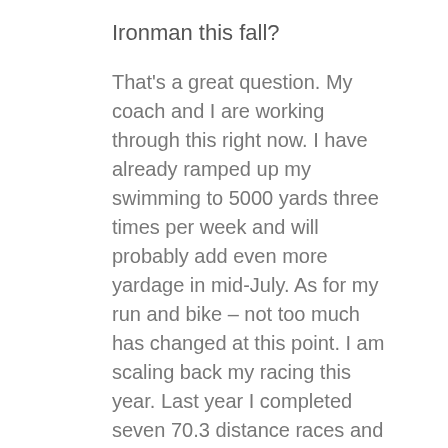Ironman this fall?
That's a great question. My coach and I are working through this right now. I have already ramped up my swimming to 5000 yards three times per week and will probably add even more yardage in mid-July. As for my run and bike – not too much has changed at this point. I am scaling back my racing this year. Last year I completed seven 70.3 distance races and five Olympic distance races. This year I only have five 70.3 races and three Olympic distance on my schedule. My focus is staying fresh and healthy. I hope to increase my run training to 50 miles per week by August and start longer